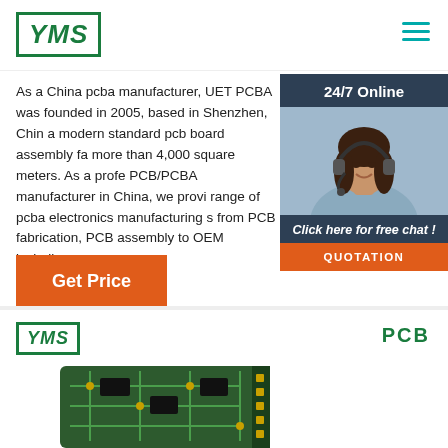[Figure (logo): YMS logo in green box, top-left header]
[Figure (logo): Hamburger menu icon in teal, top-right header]
As a China pcba manufacturer, UET PCBA was founded in 2005, based in Shenzhen, China, a modern standard pcb board assembly fa more than 4,000 square meters. As a profe PCB/PCBA manufacturer in China, we provi range of pcba electronics manufacturing s from PCB fabrication, PCB assembly to OEM including ...
[Figure (infographic): 24/7 Online chat widget with dark blue background, woman with headset photo, Click here for free chat text, and QUOTATION orange button]
[Figure (other): Get Price orange button]
[Figure (logo): YMS logo bottom-left, smaller size]
[Figure (other): Green PCB circuit board partially visible at bottom]
PCB